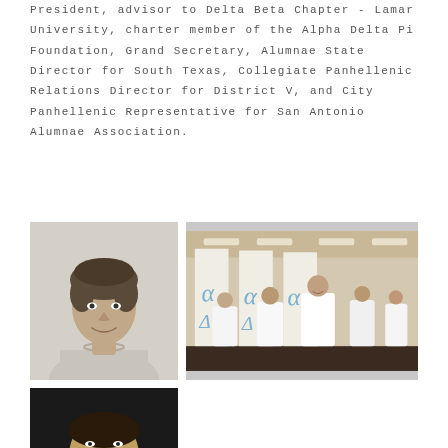President, advisor to Delta Beta Chapter - Lamar University, charter member of the Alpha Delta Pi Foundation, Grand Secretary, Alumnae State Director for South Texas, Collegiate Panhellenic Relations Director for District V, and City Panhellenic Representative for San Antonio Alumnae Association.
[Figure (photo): Black and white portrait photograph of a woman with short dark hair, wearing a pearl necklace and light-colored top, smiling]
[Figure (photo): Color photograph of a group of women wearing white clothing, holding flags with blue cursive letters (Alpha Delta Pi), standing in what appears to be a hotel ballroom or convention hall]
[Figure (photo): Partial photograph of a person, dark background, only top portion visible at bottom of page]